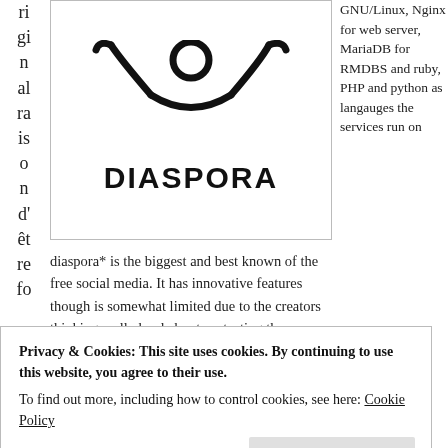ri gi n al ra is o n d' êt re fo
[Figure (logo): Diaspora* social network logo — abstract figure with arms raised above the text DIASPORA in bold capitals]
GNU/Linux, Nginx for web server, MariaDB for RMDBS and ruby, PHP and python as langauges the services run on
diaspora* is the biggest and best known of the free social media. It has innovative features though is somewhat limited due to the creators thinking really hard about protecting the consumer from possible privacy related threats. The software is high quality and reliable. It uses a asymmetric sharing arrangement
Privacy & Cookies: This site uses cookies. By continuing to use this website, you agree to their use.
To find out more, including how to control cookies, see here: Cookie Policy
Close and accept
2013 which at the time took couple of days